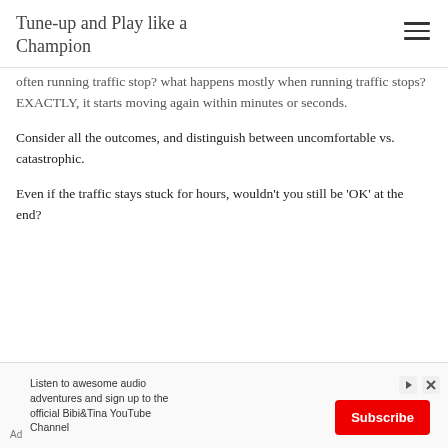Tune-up and Play like a Champion
often running traffic stop? what happens mostly when running traffic stops? EXACTLY, it starts moving again within minutes or seconds.
Consider all the outcomes, and distinguish between uncomfortable vs. catastrophic.
Even if the traffic stays stuck for hours, wouldn't you still be 'OK' at the end?
[Figure (other): Advertisement banner: Listen to awesome audio adventures and sign up to the official Bibi&Tina YouTube Channel. Subscribe button in red.]